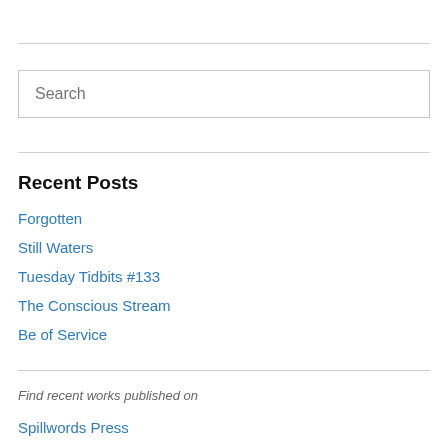Search
Recent Posts
Forgotten
Still Waters
Tuesday Tidbits #133
The Conscious Stream
Be of Service
Find recent works published on
Spillwords Press